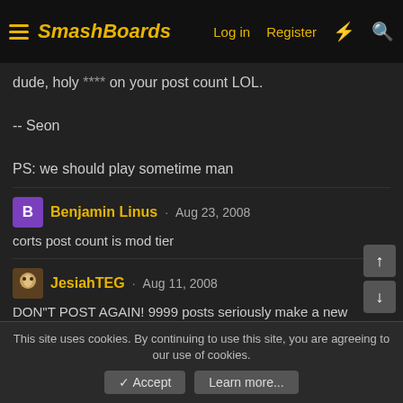SmashBoards — Log in  Register
dude, holy **** on your post count LOL.

-- Seon

PS: we should play sometime man
Benjamin Linus · Aug 23, 2008
corts post count is mod tier
JesiahTEG · Aug 11, 2008
DON"T POST AGAIN! 9999 posts seriously make a new account or something
Ninja_Star · Aug 11, 2008
Dude... I love your Avatar
This site uses cookies. By continuing to use this site, you are agreeing to our use of cookies.